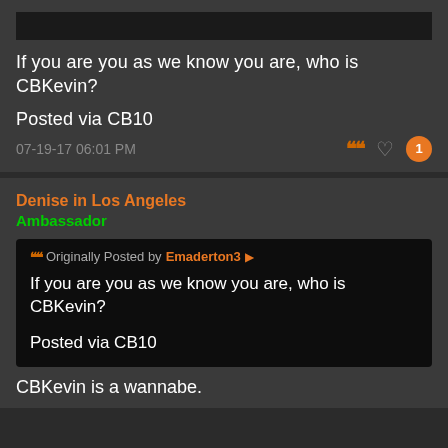If you are you as we know you are, who is CBKevin?

Posted via CB10
07-19-17 06:01 PM
Denise in Los Angeles
Ambassador
Originally Posted by Emaderton3
If you are you as we know you are, who is CBKevin?

Posted via CB10
CBKevin is a wannabe.